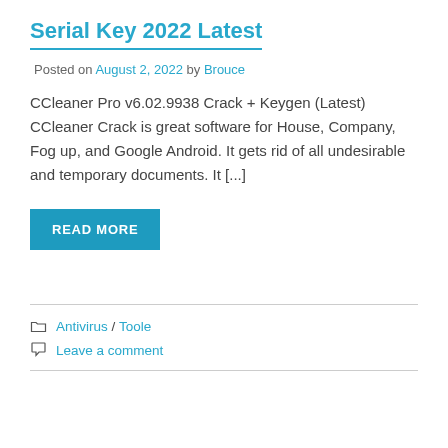Serial Key 2022 Latest
Posted on August 2, 2022 by Brouce
CCleaner Pro v6.02.9938 Crack + Keygen (Latest) CCleaner Crack is great software for House, Company, Fog up, and Google Android. It gets rid of all undesirable and temporary documents. It [...]
READ MORE
Antivirus / Toole
Leave a comment